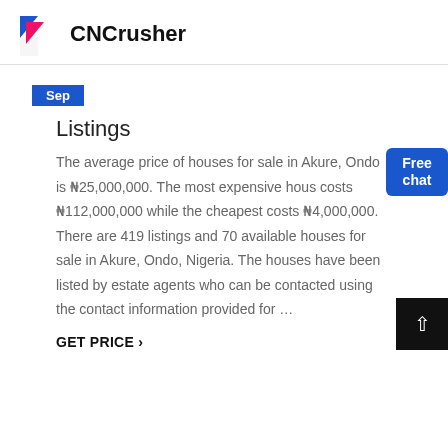CNCrusher
Sep
Listings
The average price of houses for sale in Akure, Ondo is ₦25,000,000. The most expensive house costs ₦112,000,000 while the cheapest costs ₦4,000,000. There are 419 listings and 70 available houses for sale in Akure, Ondo, Nigeria. The houses have been listed by estate agents who can be contacted using the contact information provided for …
GET PRICE ›